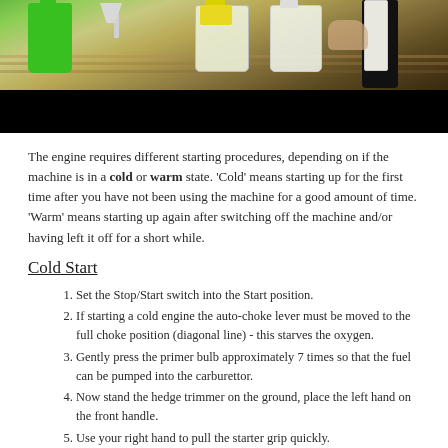[Figure (photo): Photo of fuel containers on a wooden surface: green fuel jug, white funnel, yellow-capped clear jug, and a dark bottle. Bottom portion is black (video player bar).]
The engine requires different starting procedures, depending on if the machine is in a cold or warm state. 'Cold' means starting up for the first time after you have not been using the machine for a good amount of time. 'Warm' means starting up again after switching off the machine and/or having left it off for a short while.
Cold Start
Set the Stop/Start switch into the Start position.
If starting a cold engine the auto-choke lever must be moved to the full choke position (diagonal line) - this starves the oxygen.
Gently press the primer bulb approximately 7 times so that the fuel can be pumped into the carburettor.
Now stand the hedge trimmer on the ground, place the left hand on the front handle.
Use your right hand to pull the starter grip quickly.